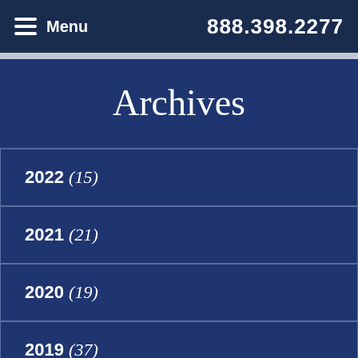Menu  888.398.2277
Archives
2022 (15)
2021 (21)
2020 (19)
2019 (37)
2018 (26)